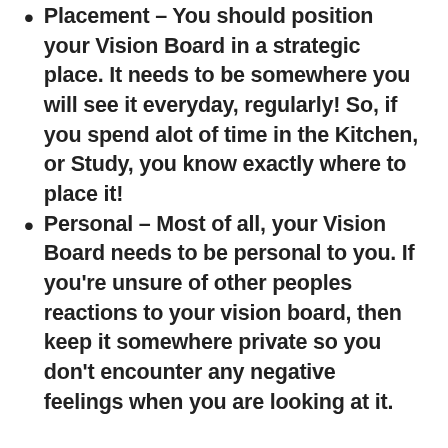Placement – You should position your Vision Board in a strategic place. It needs to be somewhere you will see it everyday, regularly! So, if you spend alot of time in the Kitchen, or Study, you know exactly where to place it!
Personal – Most of all, your Vision Board needs to be personal to you. If you're unsure of other peoples reactions to your vision board, then keep it somewhere private so you don't encounter any negative feelings when you are looking at it.